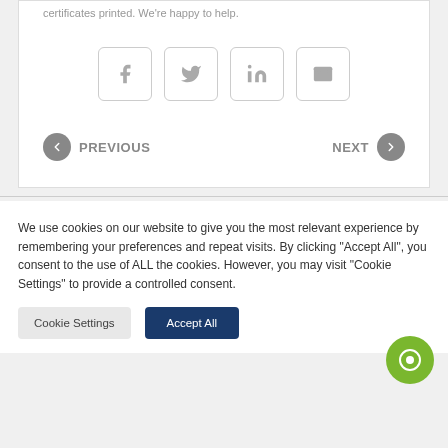certificates printed. We're happy to help.
[Figure (screenshot): Four social share buttons: Facebook, Twitter, LinkedIn, Email]
PREVIOUS   NEXT
We use cookies on our website to give you the most relevant experience by remembering your preferences and repeat visits. By clicking "Accept All", you consent to the use of ALL the cookies. However, you may visit "Cookie Settings" to provide a controlled consent.
Cookie Settings   Accept All